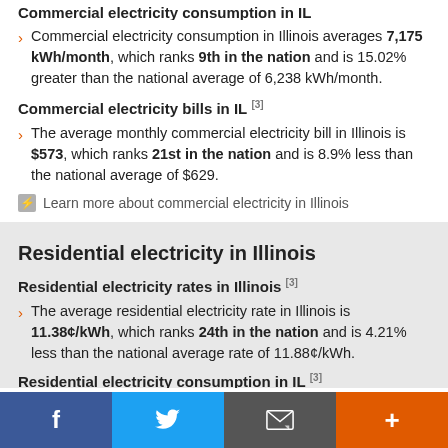Commercial electricity consumption in IL
Commercial electricity consumption in Illinois averages 7,175 kWh/month, which ranks 9th in the nation and is 15.02% greater than the national average of 6,238 kWh/month.
Commercial electricity bills in IL [3]
The average monthly commercial electricity bill in Illinois is $573, which ranks 21st in the nation and is 8.9% less than the national average of $629.
Learn more about commercial electricity in Illinois
Residential electricity in Illinois
Residential electricity rates in Illinois [3]
The average residential electricity rate in Illinois is 11.38¢/kWh, which ranks 24th in the nation and is 4.21% less than the national average rate of 11.88¢/kWh.
Residential electricity consumption in IL [3]